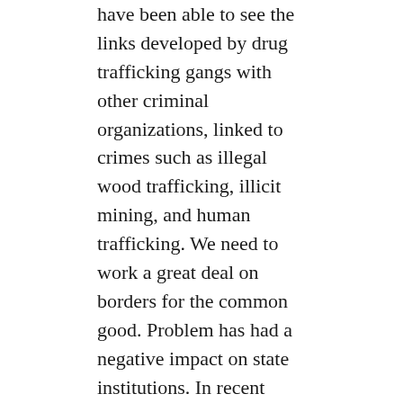have been able to see the links developed by drug trafficking gangs with other criminal organizations, linked to crimes such as illegal wood trafficking, illicit mining, and human trafficking. We need to work a great deal on borders for the common good. Problem has had a negative impact on state institutions. In recent years, we have seen greater penetration of drug trafficking in political parties. Financial revenues coming from international cartels that commit money laundering in countries with weak oversight systems. Need more experts and technology to deal with that. We need to grant priority to interventions focused on the rule of law with strict respect for human rights. Relevance of continuing to support alternative development that is comprehensive and